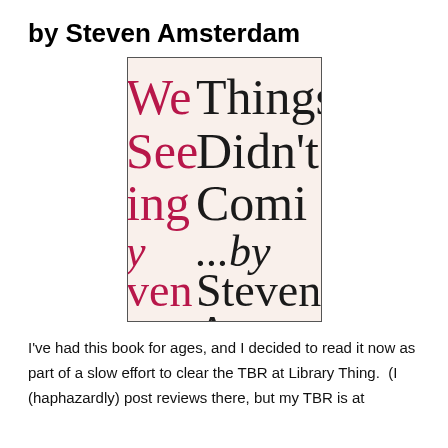by Steven Amsterdam
[Figure (photo): Book cover of 'Things We Didn't See Coming' by Steven Amsterdam, shown zoomed in on a cream/light beige background with large serif text in black and red/pink alternating colors showing partial words: We, Things, See, Didn't S, ing, Comi, y, ...by, ven, Steven, am, Amsterda]
I've had this book for ages, and I decided to read it now as part of a slow effort to clear the TBR at Library Thing.  (I (haphazardly) post reviews there, but my TBR is at